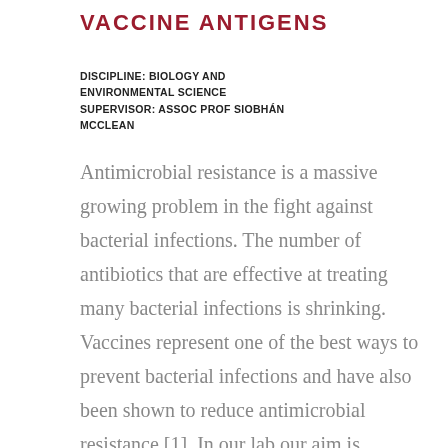VACCINE ANTIGENS
DISCIPLINE: BIOLOGY AND ENVIRONMENTAL SCIENCE SUPERVISOR: ASSOC PROF SIOBHÁN MCCLEAN
Antimicrobial resistance is a massive growing problem in the fight against bacterial infections. The number of antibiotics that are effective at treating many bacterial infections is shrinking. Vaccines represent one of the best ways to prevent bacterial infections and have also been shown to reduce antimicrobial resistance [1]. In our lab our aim is develop anti-bacterial vaccines in order to prevent how difficult and challenging...